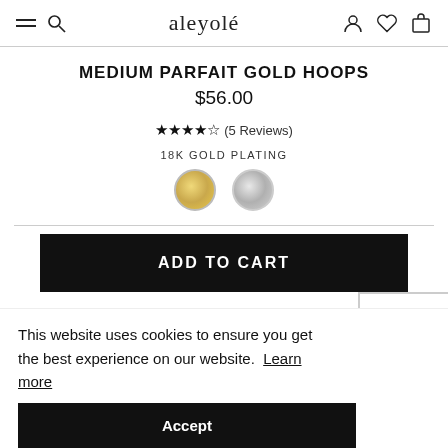aleyolé
MEDIUM PARFAIT GOLD HOOPS
$56.00
★★★★☆ (5 Reviews)
18K GOLD PLATING
[Figure (other): Two color swatches: gold and silver circles]
ADD TO CART
This website uses cookies to ensure you get the best experience on our website. Learn more
Accept